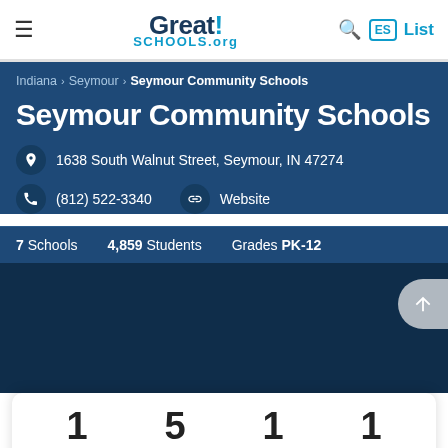GreatSchools.org
Indiana › Seymour › Seymour Community Schools
Seymour Community Schools
1638 South Walnut Street, Seymour, IN 47274
(812) 522-3340   Website
7 Schools   4,859 Students   Grades PK-12
1   5   1   1